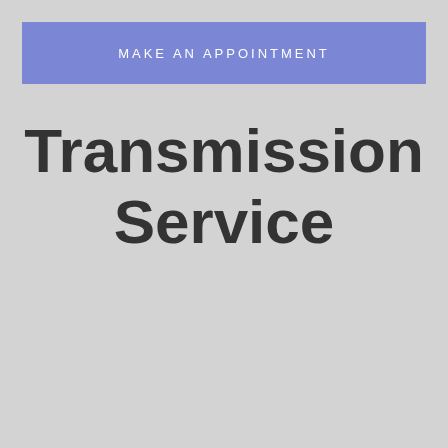MAKE AN APPOINTMENT
Transmission Service